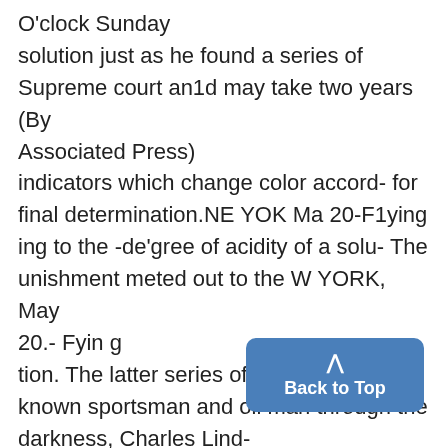O'clock Sunday solution just as he found a series of Supreme court an1d may take two years (By Associated Press) indicators which change color accord- for final determination.NE YOK Ma 20-F1ying ing to the -de'gree of acidity of a solu- The unishment meted out to the W YORK, May 20.- Fyin g tion. The latter series of indicators is well known sportsman and oil man through the darkness, Charles Lind- in constant use, especially in ph apparently was more severe th